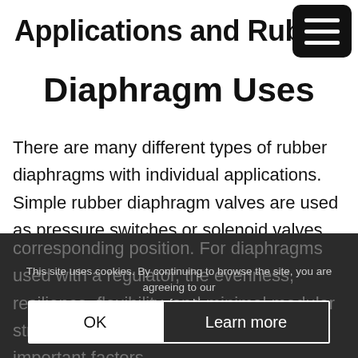Applications and Rubb
Diaphragm Uses
There are many different types of rubber diaphragms with individual applications. Simple rubber diaphragm valves are used as pressure switches or solenoid valves. Regulators are a type of modulating devices that depend on the rubber diaphragm to come back to its exact corresponding position. For diaphragms used with a regulator, the evenness, resilience, flexibility, and minimal modular stress and return area are the most important factors.
This site uses cookies. By continuing to browse the site, you are agreeing to our use of cookies.